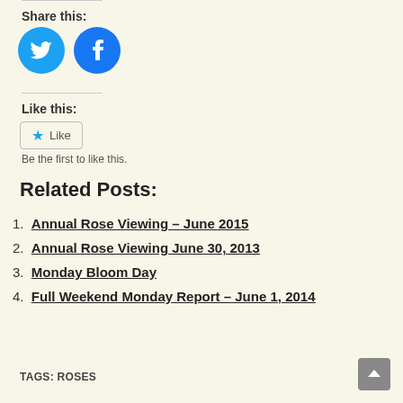Share this:
[Figure (illustration): Two circular social media icons: Twitter (blue bird) and Facebook (blue f)]
Like this:
★ Like
Be the first to like this.
Related Posts:
1. Annual Rose Viewing – June 2015
2. Annual Rose Viewing June 30, 2013
3. Monday Bloom Day
4. Full Weekend Monday Report – June 1, 2014
TAGS: ROSES